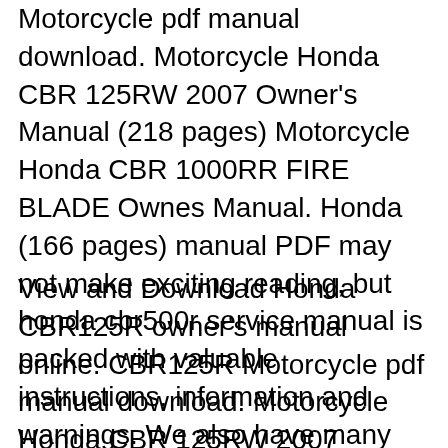Motorcycle pdf manual download. Motorcycle Honda CBR 125RW 2007 Owner's Manual (218 pages) Motorcycle Honda CBR 1000RR FIRE BLADE Ownes Manual. Honda (166 pages) manual PDF may not make exciting reading, but honda cbr500r service manual is packed with valuable instructions, information and warnings. We also have many ebooks and user guide is also
View and Download Honda CBR125R owner's manual online. CBR125R Motorcycle pdf manual download. Motorcycle Honda CBR 125RW 2007 Owner's Manual (218 pages) Motorcycle Honda CBR 1000RR FIRE BLADE Ownes Manual. Honda (166 pages) manual PDF